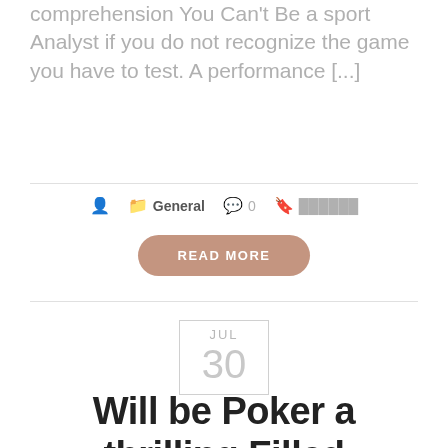comprehension You Can't Be a sport Analyst if you do not recognize the game you have to test. A performance [...]
General  0  ██████
READ MORE
JUL 30
Will be Poker a thrilling Filled